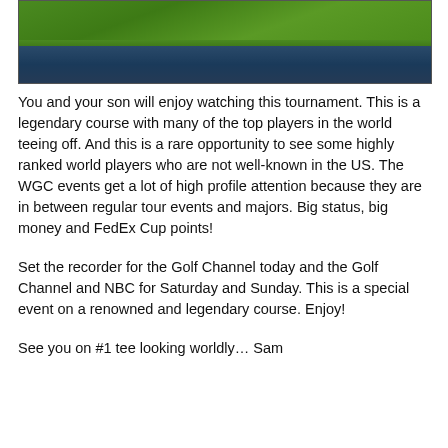[Figure (photo): Golf course photo showing green grass fairway with water hazard below]
You and your son will enjoy watching this tournament. This is a legendary course with many of the top players in the world teeing off. And this is a rare opportunity to see some highly ranked world players who are not well-known in the US. The WGC events get a lot of high profile attention because they are in between regular tour events and majors. Big status, big money and FedEx Cup points!
Set the recorder for the Golf Channel today and the Golf Channel and NBC for Saturday and Sunday. This is a special event on a renowned and legendary course. Enjoy!
See you on #1 tee looking worldly… Sam